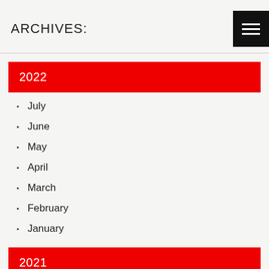ARCHIVES:
2022
July
June
May
April
March
February
January
2021
December
November
October